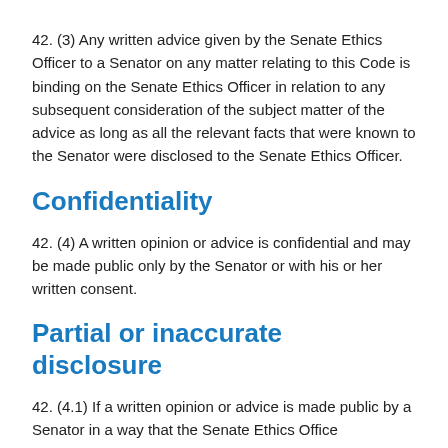42. (3) Any written advice given by the Senate Ethics Officer to a Senator on any matter relating to this Code is binding on the Senate Ethics Officer in relation to any subsequent consideration of the subject matter of the advice as long as all the relevant facts that were known to the Senator were disclosed to the Senate Ethics Officer.
Confidentiality
42. (4) A written opinion or advice is confidential and may be made public only by the Senator or with his or her written consent.
Partial or inaccurate disclosure
42. (4.1) If a written opinion or advice is made public by a Senator in a way that the Senate Ethics Office